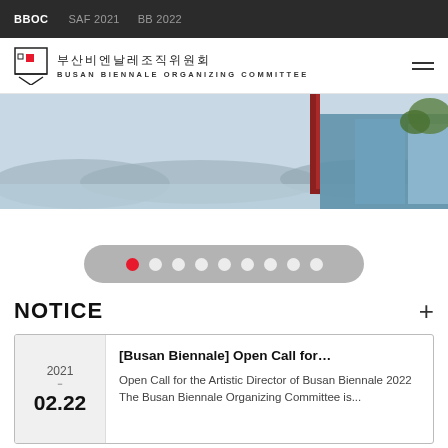BBOC  SAF 2021  BB 2022
[Figure (logo): Busan Biennale Organizing Committee logo with Korean text 부산비엔날레조직위원회 and English text BUSAN BIENNALE ORGANIZING COMMITTEE]
[Figure (photo): Hero banner image showing a coastal landscape with blue water, mountains in the background, and a red chimney/tower structure with art installation on the right side]
[Figure (other): Slideshow navigation dots: 9 dots in a rounded grey pill, first dot is red/active, remaining 8 are white/inactive]
NOTICE
[Busan Biennale] Open Call for…
Open Call for the Artistic Director of Busan Biennale 2022 The Busan Biennale Organizing Committee is...
2021 – 02.22